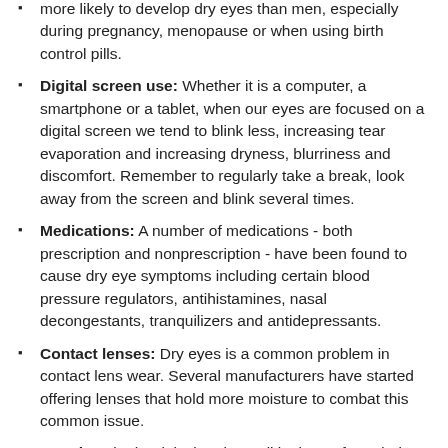more likely to develop dry eyes than men, especially during pregnancy, menopause or when using birth control pills.
Digital screen use: Whether it is a computer, a smartphone or a tablet, when our eyes are focused on a digital screen we tend to blink less, increasing tear evaporation and increasing dryness, blurriness and discomfort. Remember to regularly take a break, look away from the screen and blink several times.
Medications: A number of medications - both prescription and nonprescription - have been found to cause dry eye symptoms including certain blood pressure regulators, antihistamines, nasal decongestants, tranquilizers and antidepressants.
Contact lenses: Dry eyes is a common problem in contact lens wear. Several manufacturers have started offering lenses that hold more moisture to combat this common issue.
Dry air: Whether it is the air conditioning or forced-air heating inside or the dry, windy climate outside, the environment of the air around you can contribute to dry eyes by causing your tears to evaporate too quickly.
LASIK: One side effect of LASIK and other corneal refractive